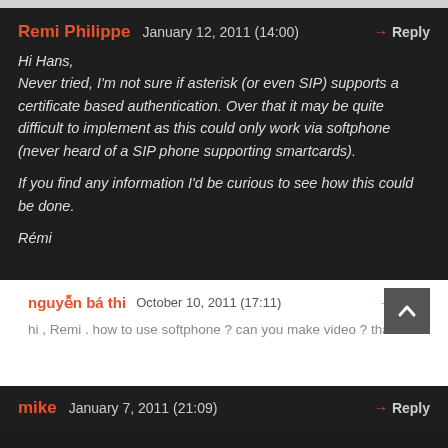Remi Philippe  January 12, 2011 (14:00)  → Reply
Hi Hans,
Never tried, I'm not sure if asterisk (or even SIP) supports a certificate based authentication. Over that it may be quite difficult to implement as this could only work via softphone (never heard of a SIP phone supporting smartcards).

If you find any information I'd be curious to see how this could be done.

Rémi
nguyễn bá thi  October 10, 2011 (17:11)  → Reply
hi , Remi . how to use softphone ? can you make video ? thanks.
mike  January 7, 2011 (21:09)  → Reply